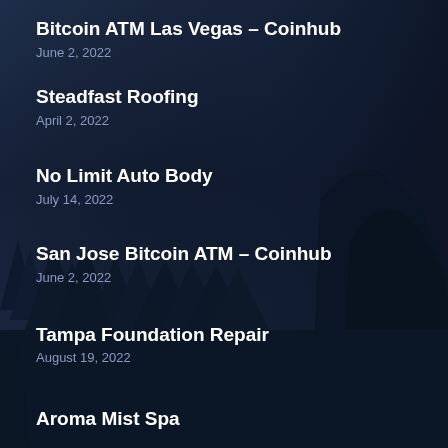Bitcoin ATM Las Vegas – Coinhub
June 2, 2022
Steadfast Roofing
April 2, 2022
No Limit Auto Body
July 14, 2022
San Jose Bitcoin ATM – Coinhub
June 2, 2022
Tampa Foundation Repair
August 19, 2022
Aroma Mist Spa